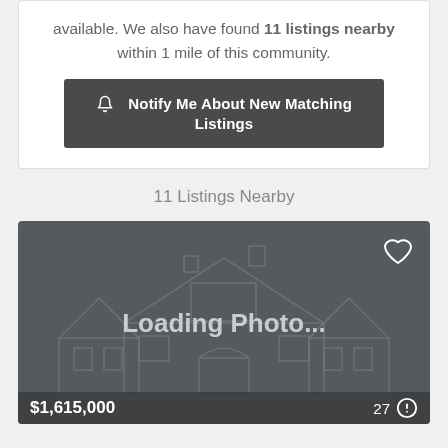available. We also have found 11 listings nearby within 1 mile of this community.
Notify Me About New Matching Listings
11 Listings Nearby
[Figure (screenshot): Loading photo placeholder for a real estate listing card showing a house outline graphic with 'Loading Photo...' text, a heart/favorite icon in the top right, price '$1,615,000' at the bottom left, and a count badge '27' at the bottom right.]